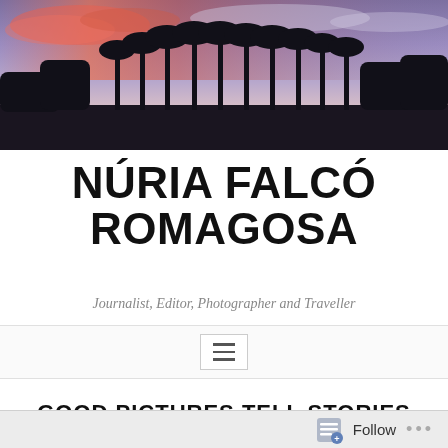[Figure (photo): Panoramic photo of palm tree silhouettes against a twilight sky with purple, pink and orange hues]
NÚRIA FALCÓ ROMAGOSA
Journalist, Editor, Photographer and Traveller
[Figure (other): Navigation hamburger menu icon]
GOOD PICTURES TELL STORIES
Follow ...